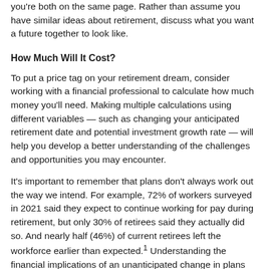you're both on the same page. Rather than assume you have similar ideas about retirement, discuss what you want a future together to look like.
How Much Will It Cost?
To put a price tag on your retirement dream, consider working with a financial professional to calculate how much money you'll need. Making multiple calculations using different variables — such as changing your anticipated retirement date and potential investment growth rate — will help you develop a better understanding of the challenges and opportunities you may encounter.
It's important to remember that plans don't always work out the way we intend. For example, 72% of workers surveyed in 2021 said they expect to continue working for pay during retirement, but only 30% of retirees said they actually did so. And nearly half (46%) of current retirees left the workforce earlier than expected.¹ Understanding the financial implications of an unanticipated change in plans before it happens could make it